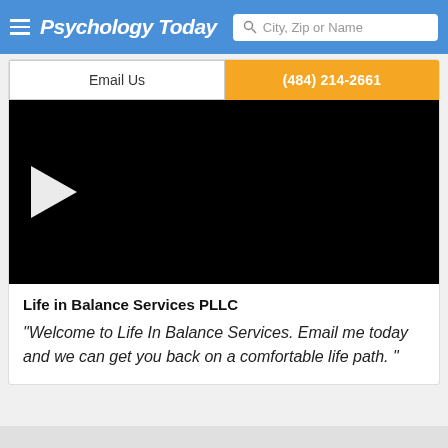Psychology Today — City, Zip or Name search bar
Email Us
(484) 214-2661
[Figure (screenshot): Black video player with white play button triangle on the left side]
Life in Balance Services PLLC
“Welcome to Life In Balance Services. Email me today and we can get you back on a comfortable life path. ”